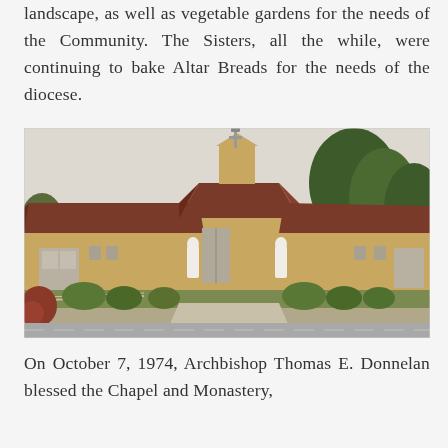landscape, as well as vegetable gardens for the needs of the Community. The Sisters, all the while, were continuing to bake Altar Breads for the needs of the diocese.
[Figure (photo): Exterior photograph of a church/monastery building with a brown metal roof, tan/yellow walls, a bell tower with cross on top, two white statues flanking the entrance, green shrubs and trees surrounding the building, with a grassy lawn and sidewalk in the foreground.]
On October 7, 1974, Archbishop Thomas E. Donnelan blessed the Chapel and Monastery,